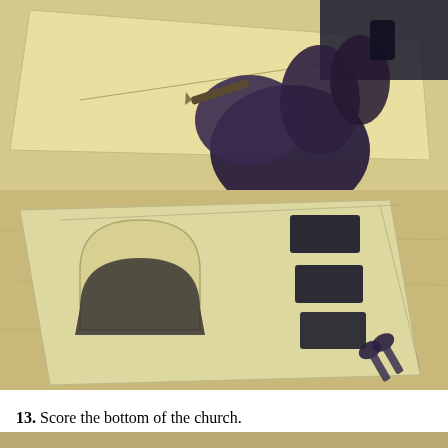[Figure (photo): Close-up photo of a hand holding a pencil or scoring tool, tracing a line on yellow/cream paper or cardstock, viewed from above at an angle.]
[Figure (photo): Photo of cut-out cardstock church pieces laid on a wooden surface, showing scored and cut shapes including a rounded door arch piece and three dark rectangular windows, with scissors visible at the bottom right.]
13. Score the bottom of the church.
[Figure (photo): Partial view of another step photo at the bottom of the page, cut off.]